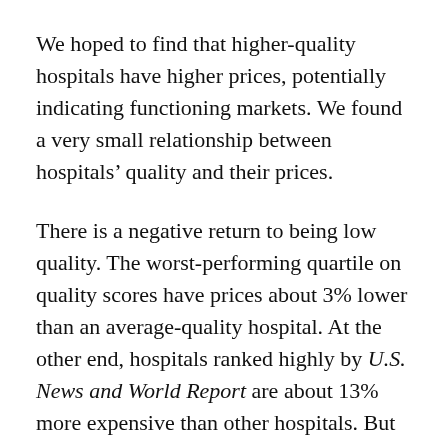We hoped to find that higher-quality hospitals have higher prices, potentially indicating functioning markets. We found a very small relationship between hospitals' quality and their prices.
There is a negative return to being low quality. The worst-performing quartile on quality scores have prices about 3% lower than an average-quality hospital. At the other end, hospitals ranked highly by U.S. News and World Report are about 13% more expensive than other hospitals. But it's a very small relationship considering the scale of the price variation we